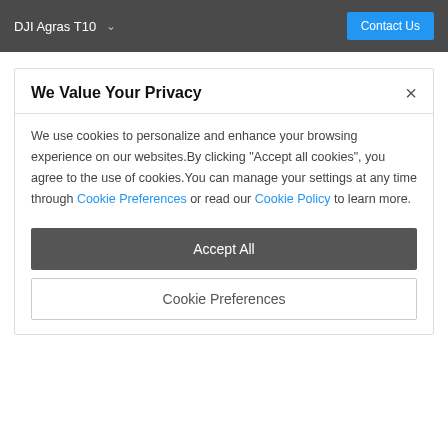DJI Agras T10  Contact Us
[Figure (other): 8L text spec label and atom icon circle]
We Value Your Privacy
We use cookies to personalize and enhance your browsing experience on our websites.By clicking "Accept all cookies", you agree to the use of cookies.You can manage your settings at any time through Cookie Preferences or read our Cookie Policy to learn more.
Accept All
Cookie Preferences